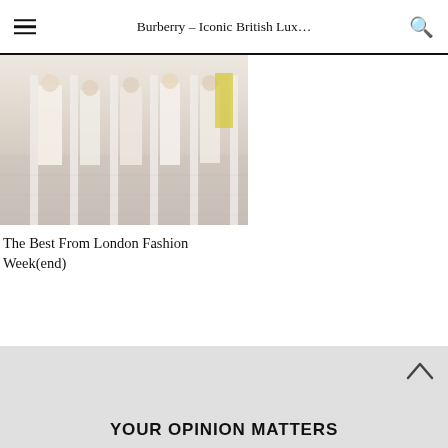Burberry – Iconic British Lux…
[Figure (photo): Fashion show photo showing models on a runway with white columns, wearing light-colored outfits]
The Best From London Fashion Week(end)
YOUR OPINION MATTERS